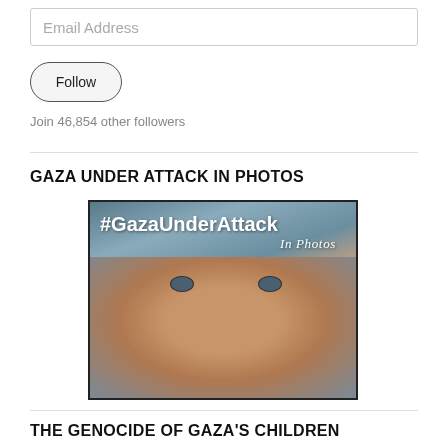Email Address
Follow
Join 46,854 other followers
GAZA UNDER ATTACK IN PHOTOS
[Figure (photo): Photo with text overlay reading '#GazaUnderAttack IN Photos' above a close-up of a young child's face with sorrowful expression]
THE GENOCIDE OF GAZA'S CHILDREN